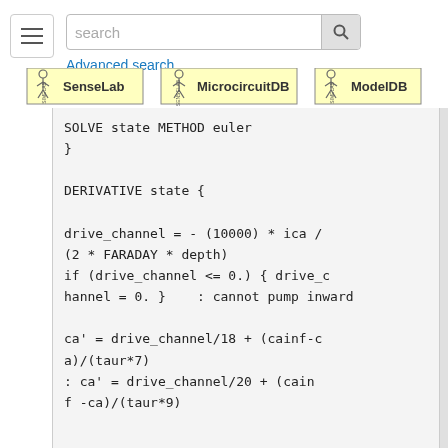[Figure (screenshot): Navigation bar with hamburger menu, search box with search button, Advanced search link, and three logos: SenseLab, MicrocircuitDB, ModelDB]
SOLVE state METHOD euler
}

DERIVATIVE state {

    drive_channel =  - (10000) * ica / (2 * FARADAY * depth)
    if (drive_channel <= 0.) { drive_channel = 0.  }   : cannot pump inward

    ca' = drive_channel/18 + (cainf-ca)/(taur*7)
         : ca' = drive_channel/20 + (cainf -ca)/(taur*9)




    cai = ca
}